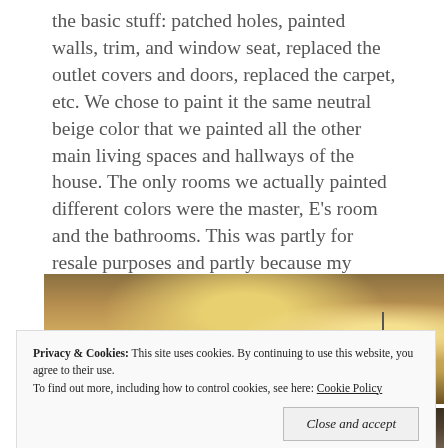the basic stuff: patched holes, painted walls, trim, and window seat, replaced the outlet covers and doors, replaced the carpet, etc. We chose to paint it the same neutral beige color that we painted all the other main living spaces and hallways of the house. The only rooms we actually painted different colors were the master, E's room and the bathrooms. This was partly for resale purposes and partly because my newlywed, pregnant, crazy brain couldn't handle that many decisions 😉 So then it looked like this.
[Figure (photo): Interior room photo showing a dimly lit room with beige/golden walls and a ceiling lamp, taken at an angle from below]
Privacy & Cookies: This site uses cookies. By continuing to use this website, you agree to their use. To find out more, including how to control cookies, see here: Cookie Policy